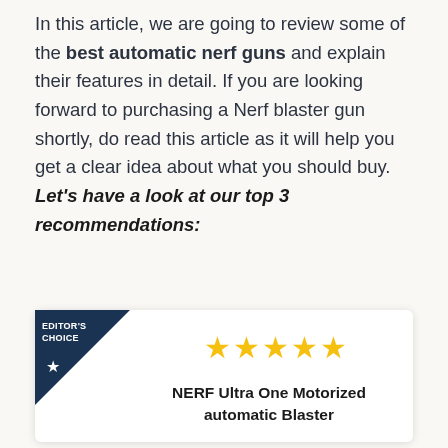In this article, we are going to review some of the best automatic nerf guns and explain their features in detail. If you are looking forward to purchasing a Nerf blaster gun shortly, do read this article as it will help you get a clear idea about what you should buy. Let's have a look at our top 3 recommendations:
[Figure (other): Editor's Choice badge with dark navy triangle in top-left corner of a product card. Five gold stars rating. Product name: NERF Ultra One Motorized automatic Blaster]